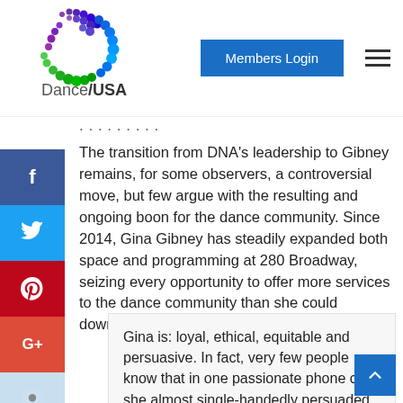Dance/USA — Members Login
The transition from DNA's leadership to Gibney remains, for some observers, a controversial move, but few argue with the resulting and ongoing boon for the dance community. Since 2014, Gina Gibney has steadily expanded both space and programming at 280 Broadway, seizing every opportunity to offer more services to the dance community than she could downtown at 890 Broadway.
Gina is: loyal, ethical, equitable and persuasive. In fact, very few people know that in one passionate phone call she almost single-handedly persuaded me to move from Colorado to take the